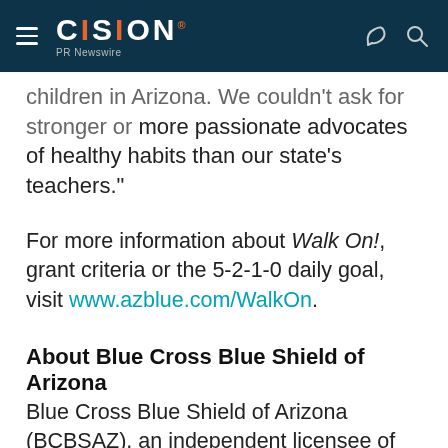CISION PR Newswire
children in Arizona. We couldn't ask for stronger or more passionate advocates of healthy habits than our state's teachers."
For more information about Walk On!, grant criteria or the 5-2-1-0 daily goal, visit www.azblue.com/WalkOn.
About Blue Cross Blue Shield of Arizona
Blue Cross Blue Shield of Arizona (BCBSAZ), an independent licensee of the Blue Cross and Blue Shield Association, is the largest Arizona-based health insurance company. The not-for-profit company was founded in 1939 and provides health